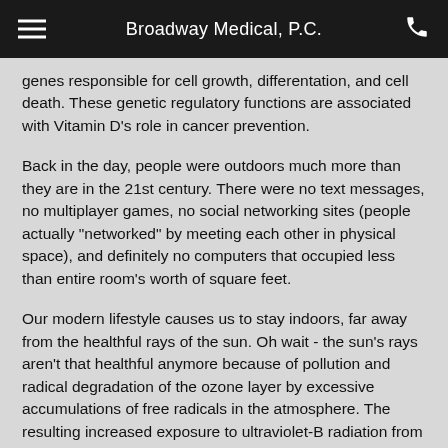Broadway Medical, P.C.
genes responsible for cell growth, differentation, and cell death. These genetic regulatory functions are associated with Vitamin D's role in cancer prevention.
Back in the day, people were outdoors much more than they are in the 21st century. There were no text messages, no multiplayer games, no social networking sites (people actually "networked" by meeting each other in physical space), and definitely no computers that occupied less than entire room's worth of square feet.
Our modern lifestyle causes us to stay indoors, far away from the healthful rays of the sun. Oh wait - the sun's rays aren't that healthful anymore because of pollution and radical degradation of the ozone layer by excessive accumulations of free radicals in the atmosphere. The resulting increased exposure to ultraviolet-B radiation from